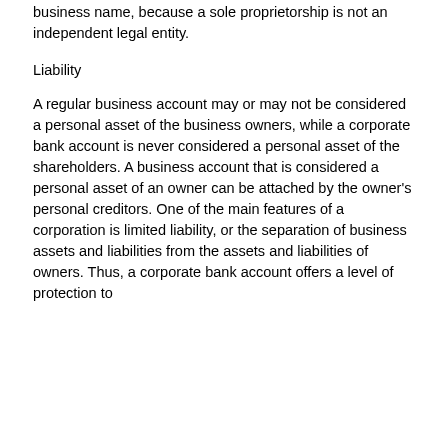business name, because a sole proprietorship is not an independent legal entity.
Liability
A regular business account may or may not be considered a personal asset of the business owners, while a corporate bank account is never considered a personal asset of the shareholders. A business account that is considered a personal asset of an owner can be attached by the owner's personal creditors. One of the main features of a corporation is limited liability, or the separation of business assets and liabilities from the assets and liabilities of owners. Thus, a corporate bank account offers a level of protection to